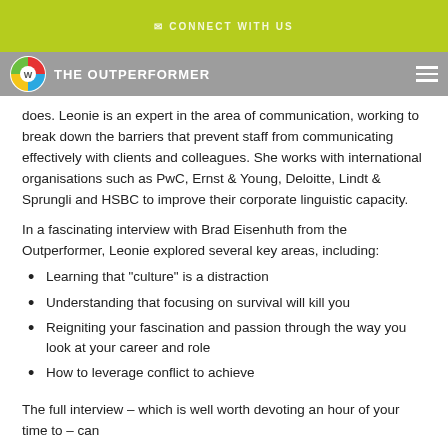CONNECT WITH US
THE OUTPERFORMER
does. Leonie is an expert in the area of communication, working to break down the barriers that prevent staff from communicating effectively with clients and colleagues. She works with international organisations such as PwC, Ernst & Young, Deloitte, Lindt & Sprungli and HSBC to improve their corporate linguistic capacity.
In a fascinating interview with Brad Eisenhuth from the Outperformer, Leonie explored several key areas, including:
Learning that "culture" is a distraction
Understanding that focusing on survival will kill you
Reigniting your fascination and passion through the way you look at your career and role
How to leverage conflict to achieve
The full interview – which is well worth devoting an hour of your time to – can